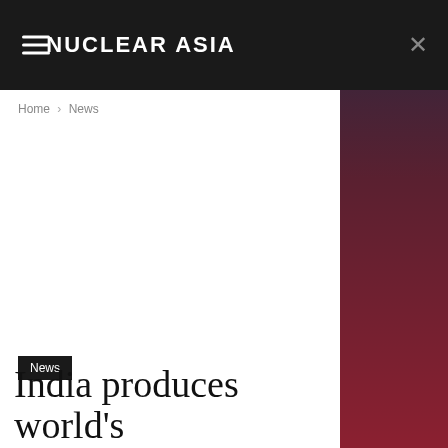NUCLEAR ASIA
Home › News
News
India produces world's